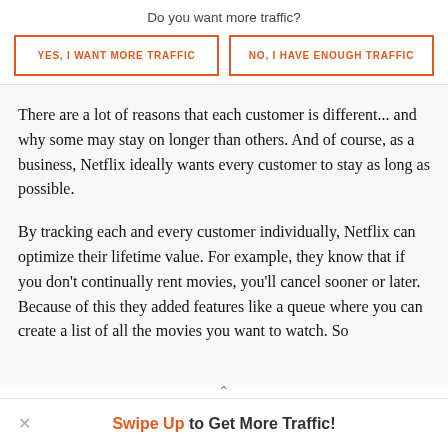Do you want more traffic?
YES, I WANT MORE TRAFFIC
NO, I HAVE ENOUGH TRAFFIC
There are a lot of reasons that each customer is different... and why some may stay on longer than others. And of course, as a business, Netflix ideally wants every customer to stay as long as possible.
By tracking each and every customer individually, Netflix can optimize their lifetime value. For example, they know that if you don't continually rent movies, you'll cancel sooner or later. Because of this they added features like a queue where you can create a list of all the movies you want to watch. So
Swipe Up to Get More Traffic!